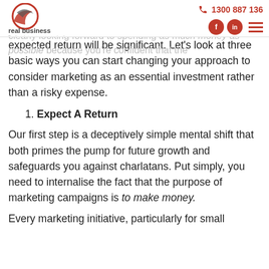real business | 1300 887 136
growth and lures you into a defensive mindset. With a well defined marketing strategy, you should be clearly looking forward to spending as much money as possible because you're confident that the expected return will be significant. Let's look at three basic ways you can start changing your approach to consider marketing as an essential investment rather than a risky expense.
1. Expect A Return
Our first step is a deceptively simple mental shift that both primes the pump for future growth and safeguards you against charlatans. Put simply, you need to internalise the fact that the purpose of marketing campaigns is to make money.
Every marketing initiative, particularly for small